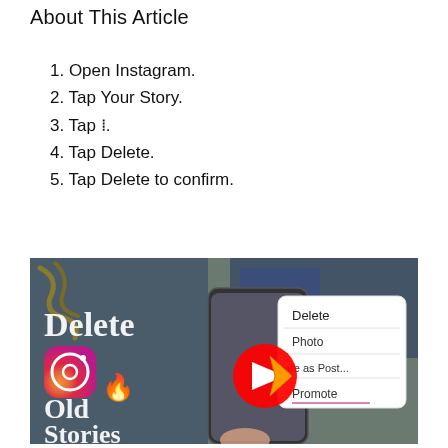About This Article
1. Open Instagram.
2. Tap Your Story.
3. Tap ⋮.
4. Tap Delete.
5. Tap Delete to confirm.
[Figure (screenshot): Thumbnail image showing 'Delete Old Stories' with Instagram logo, fire emoji, YouTube play button, and a phone screen showing a dropdown menu with Delete, Photo, Share as Post, Promote options.]